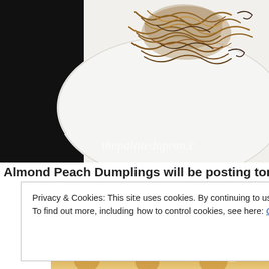[Figure (photo): Close-up photo of caramelized onions or fried noodles on a white decorative plate, with a black background on the left side. Watermark reads 'thepaintedapron.c' at the bottom right.]
Almond Peach Dumplings will be posting tomorrow
Privacy & Cookies: This site uses cookies. By continuing to use this website, you agree to their use.
To find out more, including how to control cookies, see here: Cookie Policy
Close and accept
[Figure (photo): Bottom portion of a food photo showing what appears to be dumplings or pastries with almond slivers.]